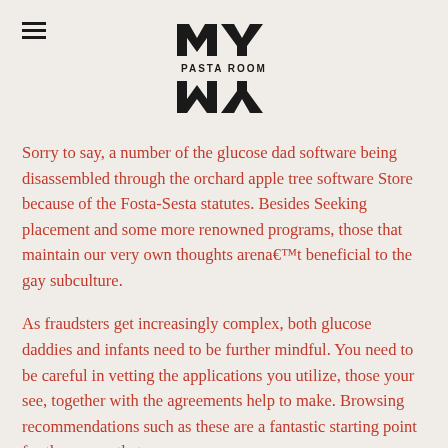[Figure (logo): MY Pasta Room logo — bold stylized 'MY' letters above and below 'PASTA ROOM' text in black]
Sorry to say, a number of the glucose dad software being disassembled through the orchard apple tree software Store because of the Fosta-Sesta statutes. Besides Seeking placement and some more renowned programs, those that maintain our very own thoughts arena€™t beneficial to the gay subculture.
As fraudsters get increasingly complex, both glucose daddies and infants need to be further mindful. You need to be careful in vetting the applications you utilize, those your see, together with the agreements help to make. Browsing recommendations such as these are a fantastic starting point for the reason that process.